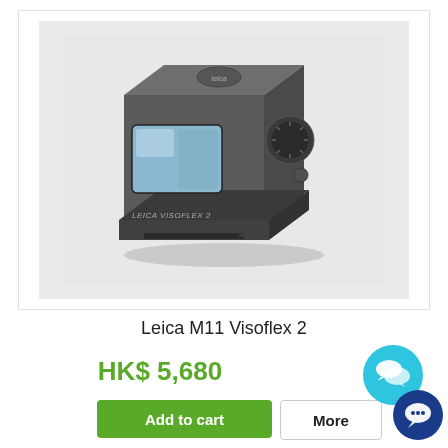[Figure (photo): Leica M11 Visoflex 2 electronic viewfinder, dark grey/black metal body, shown at angle with lens window on front and dial on side, on light grey background]
Leica M11 Visoflex 2
HK$ 5,680
[Figure (illustration): Cyan/teal chat bubble icon (round circle with two overlapping speech bubbles)]
[Figure (illustration): Dark blue/navy circular chat messenger icon]